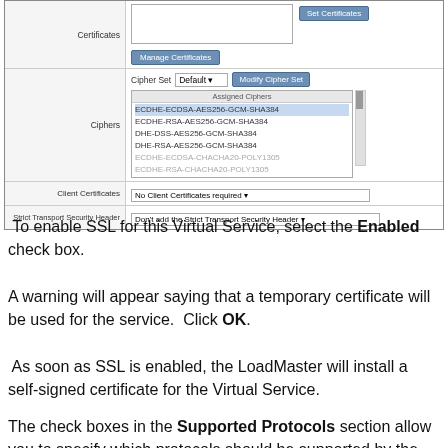[Figure (screenshot): UI screenshot showing SSL configuration panel with Certificates row (Manage Certificates button, Set Certificates button), Ciphers row (Cipher Set dropdown set to Default, Modify Cipher Set button, Assigned Ciphers listbox with cipher suites), Client Certificates row (dropdown: No Client Certificates required), and Strict Transport Security Header row (dropdown: Don't add the Strict Transport Security Header).]
To enable SSL for this Virtual Service, select the Enabled check box.
A warning will appear saying that a temporary certificate will be used for the service.  Click OK.
As soon as SSL is enabled, the LoadMaster will install a self-signed certificate for the Virtual Service.
The check boxes in the Supported Protocols section allow you to specify which protocols should be supported by the Virtual Service. By default, TLS1.1, TLS1.2, and TLS1.3 a